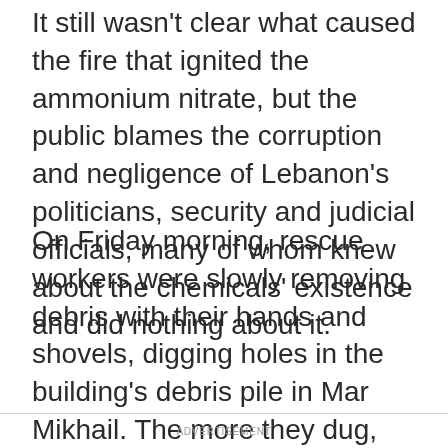It still wasn't clear what caused the fire that ignited the ammonium nitrate, but the public blames the corruption and negligence of Lebanon's politicians, security and judicial officials, many of whom knew about the chemicals' existence and did nothing about it.
On Friday morning, rescue workers were slowly removing debris with their hands and shovels, digging holes in the building's debris pile in Mar Mikhail. The more they dug, the more careful the work became to protect any possible survivors under the rubble. Later, they brought a 360-degree camera placed at the end of a long stick and pushed it into a hole in the building.
ADVERTISEMENT